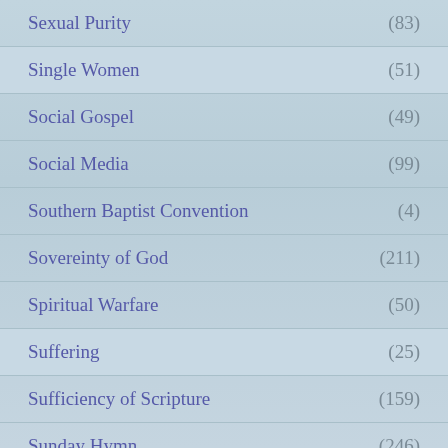Sexual Purity (83)
Single Women (51)
Social Gospel (49)
Social Media (99)
Southern Baptist Convention (4)
Sovereinty of God (211)
Spiritual Warfare (50)
Suffering (25)
Sufficiency of Scripture (159)
Sunday Hymn (246)